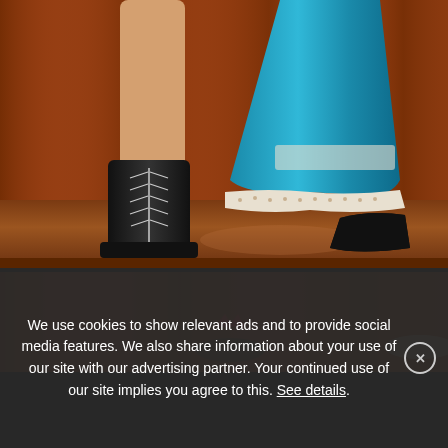[Figure (photo): Close-up of performers' legs and feet on a wooden stage. One person wears tall black lace-up boots and bare legs, the other wears a bright turquoise/blue satin dress with white lace trim at the hem and black dress shoes. Stage backdrop is dark orange/brown curtain.]
[Figure (photo): Partial view of a stage with orange/brown curtain backdrop. Two pairs of feet/shoes are partially visible at the bottom corners — one with red cat ears accessory on the left, and one with a beige/tan shoe on the right.]
We use cookies to show relevant ads and to provide social media features. We also share information about your use of our site with our advertising partner. Your continued use of our site implies you agree to this. See details.